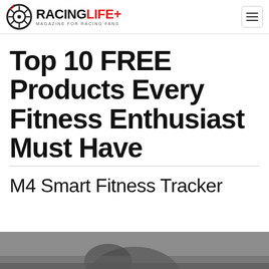RACINGLIFE+ MAGAZINE FOR RACING FANS
Top 10 FREE Products Every Fitness Enthusiast Must Have
M4 Smart Fitness Tracker
[Figure (photo): Photo of a person wearing a fitness tracker, partially visible at the bottom of the page]